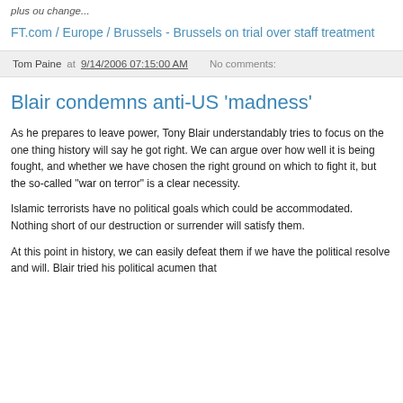plus ou change...
FT.com / Europe / Brussels - Brussels on trial over staff treatment
Tom Paine at 9/14/2006 07:15:00 AM   No comments:
Blair condemns anti-US 'madness'
As he prepares to leave power, Tony Blair understandably tries to focus on the one thing history will say he got right. We can argue over how well it is being fought, and whether we have chosen the right ground on which to fight it, but the so-called "war on terror" is a clear necessity.
Islamic terrorists have no political goals which could be accommodated. Nothing short of our destruction or surrender will satisfy them.
At this point in history, we can easily defeat them if we have the political resolve and will. Blair tried his political acumen that...